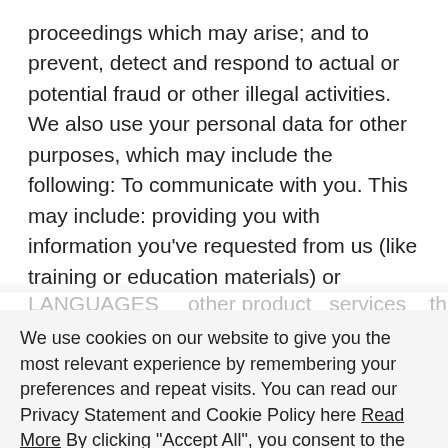proceedings which may arise; and to prevent, detect and respond to actual or potential fraud or other illegal activities. We also use your personal data for other purposes, which may include the following: To communicate with you. This may include: providing you with information you've requested from us (like training or education materials) or information we are required to send to you operational communications, like changes to our websites and services, security updates, or assistance with using our websites and services marketing communications (about ID LANGUAGES other product services this may right be
We use cookies on our website to give you the most relevant experience by remembering your preferences and repeat visits. You can read our Privacy Statement and Cookie Policy here Read More By clicking "Accept All", you consent to the use of ALL the cookies. However, you may visit "Cookie Settings" to provide a controlled consent.